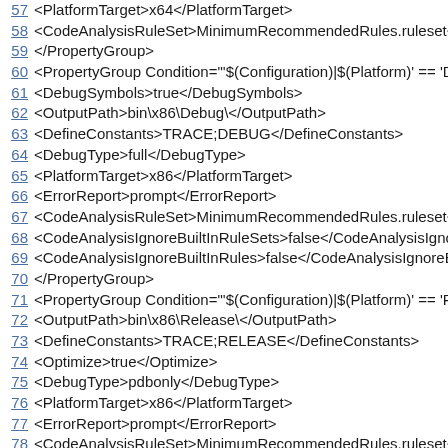57  <PlatformTarget>x64</PlatformTarget>
58  <CodeAnalysisRuleSet>MinimumRecommendedRules.ruleset</
59  </PropertyGroup>
60  <PropertyGroup Condition="'$(Configuration)|$(Platform)' == 'D
61  <DebugSymbols>true</DebugSymbols>
62  <OutputPath>bin\x86\Debug\</OutputPath>
63  <DefineConstants>TRACE;DEBUG</DefineConstants>
64  <DebugType>full</DebugType>
65  <PlatformTarget>x86</PlatformTarget>
66  <ErrorReport>prompt</ErrorReport>
67  <CodeAnalysisRuleSet>MinimumRecommendedRules.ruleset</
68  <CodeAnalysisIgnoreBuiltInRuleSets>false</CodeAnalysisIgno
69  <CodeAnalysisIgnoreBuiltInRules>false</CodeAnalysisIgnoreB
70  </PropertyGroup>
71  <PropertyGroup Condition="'$(Configuration)|$(Platform)' == 'R
72  <OutputPath>bin\x86\Release\</OutputPath>
73  <DefineConstants>TRACE;RELEASE</DefineConstants>
74  <Optimize>true</Optimize>
75  <DebugType>pdbonly</DebugType>
76  <PlatformTarget>x86</PlatformTarget>
77  <ErrorReport>prompt</ErrorReport>
78  <CodeAnalysisRuleSet>MinimumRecommendedRules.ruleset</
79  <CodeAnalysisIgnoreBuiltInRuleSets>false</CodeAnalysisIgno
80  <CodeAnalysisIgnoreBuiltInRules>false</CodeAnalysisIgnoreB
81  </PropertyGroup>
82  <PropertyGroup Condition="'$(Configuration)|$(Platform)' == '...